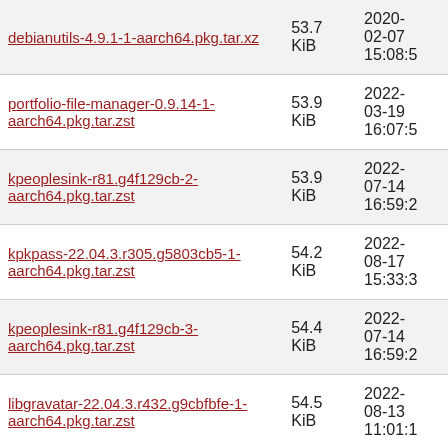| Name | Size | Date |
| --- | --- | --- |
| debianutils-4.9.1-1-aarch64.pkg.tar.xz | 53.7 KiB | 2020-02-07 15:08:5 |
| portfolio-file-manager-0.9.14-1-aarch64.pkg.tar.zst | 53.9 KiB | 2022-03-19 16:07:5 |
| kpeoplesink-r81.g4f129cb-2-aarch64.pkg.tar.zst | 53.9 KiB | 2022-07-14 16:59:2 |
| kpkpass-22.04.3.r305.g5803cb5-1-aarch64.pkg.tar.zst | 54.2 KiB | 2022-08-17 15:33:3 |
| kpeoplesink-r81.g4f129cb-3-aarch64.pkg.tar.zst | 54.4 KiB | 2022-07-14 16:59:2 |
| libgravatar-22.04.3.r432.g9cbfbfe-1-aarch64.pkg.tar.zst | 54.5 KiB | 2022-08-13 11:01:1 |
| libkdcraw-22.04.3.r1153.ga4a99cf-1-aarch64.pkg.tar.zst | 55.2 KiB | 2022-07-09 05:33:1 |
| callaudiod-hybris-0.1.4-1-aarch64.pkg.tar.zst | 55.3 KiB | 2022-05-06 |